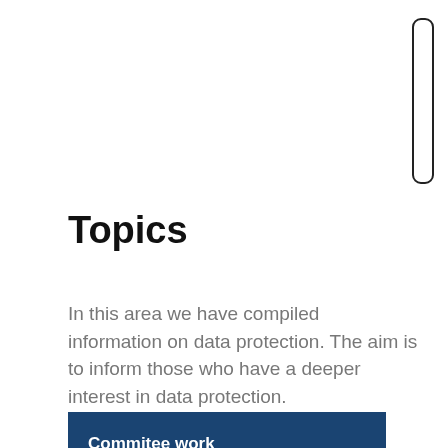Topics
In this area we have compiled information on data protection. The aim is to inform those who have a deeper interest in data protection.
Commitee work
The data protection supervisory authorities in Germany, Europe and the world cooperate closely. By agreeing on common positions, they take a stand in debates and create the practical basis for a good implementation of the law in